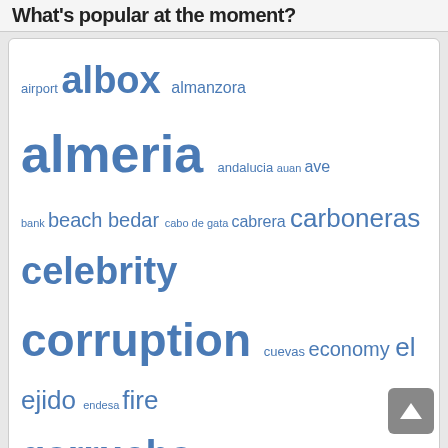What's popular at the moment?
[Figure (infographic): Tag cloud with topic keywords in varying sizes and shades of blue: airport, albox, almanzora, almeria, andalucia, auan, ave, bank, beach, bedar, cabo de gata, cabrera, carboneras, celebrity, corruption, cuevas, economy, el ejido, endesa, fire, garrucha, guardia civil, illegal builds, illegal homes, junta de andalucia, law, lei, los gallardos, madrid, mojacar, nijar, police, pp, psoe, roquetas, ryanair, tax, tourism, townhall, traffic, turre, urban corruption, vera, water, zurgena]
Care for the bears....
Moon bears sponsored by me:
[Figure (photo): Photo of a black moon bear sitting on grass in front of wooden fence, with Animals Asia logo in bottom right corner]
Over at Animals Asia!